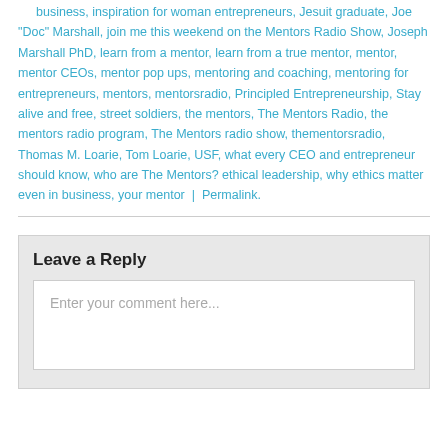business, inspiration for woman entrepreneurs, Jesuit graduate, Joe "Doc" Marshall, join me this weekend on the Mentors Radio Show, Joseph Marshall PhD, learn from a mentor, learn from a true mentor, mentor, mentor CEOs, mentor pop ups, mentoring and coaching, mentoring for entrepreneurs, mentors, mentorsradio, Principled Entrepreneurship, Stay alive and free, street soldiers, the mentors, The Mentors Radio, the mentors radio program, The Mentors radio show, thementorsradio, Thomas M. Loarie, Tom Loarie, USF, what every CEO and entrepreneur should know, who are The Mentors? ethical leadership, why ethics matter even in business, your mentor | Permalink.
Leave a Reply
Enter your comment here...